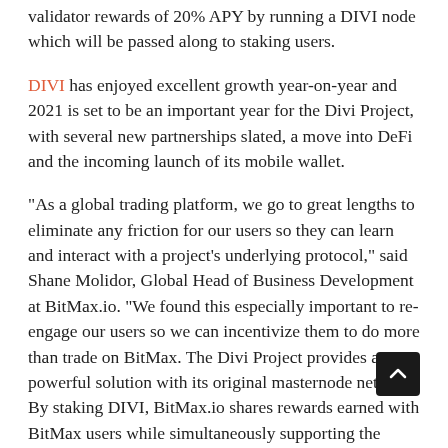validator rewards of 20% APY by running a DIVI node which will be passed along to staking users.
DIVI has enjoyed excellent growth year-on-year and 2021 is set to be an important year for the Divi Project,  with several new partnerships slated, a move into DeFi and the incoming launch of its mobile wallet.
“As a global trading platform, we go to great lengths to eliminate any friction for our users so they can learn and interact with a project’s underlying protocol,” said Shane Molidor, Global Head of Business Development at BitMax.io. “We found this especially important to re-engage our users so we can incentivize them to do more than trade on BitMax. The Divi Project provides a powerful solution with its original masternode network. By staking DIVI, BitMax.io shares rewards earned with BitMax users while simultaneously supporting the DIVI network.”
Built with humans in mind, Divi’s solutions are solving the issues of usability and accessibility that have inhibited mainstream adoption of cryptocurrencies. The results are